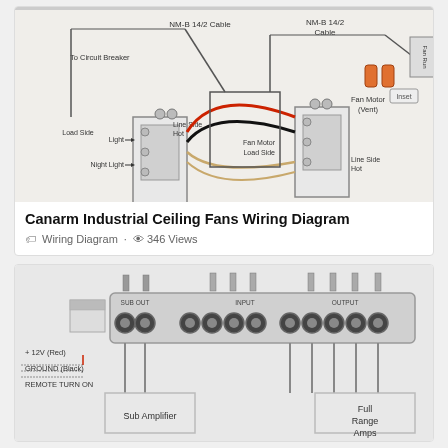[Figure (schematic): Canarm Industrial Ceiling Fan wiring diagram showing NM-B 14/2 cable connections to circuit breaker, light switch with Load Side/Night Light/Line Side Hot labels, and fan motor (vent) with Fan Motor Load Side/Line Side Hot labels, two wall switches connected by colored wires (red, black, white/tan)]
Canarm Industrial Ceiling Fans Wiring Diagram
Wiring Diagram · 346 Views
[Figure (schematic): Car audio wiring diagram showing a distribution block/crossover at top with SUB OUT, INPUT, and OUTPUT ports connected to Sub Amplifier and Full Range Amps via RCA cables, with +12V (Red), GROUND (Black), and REMOTE TURN ON power connections shown on left side]